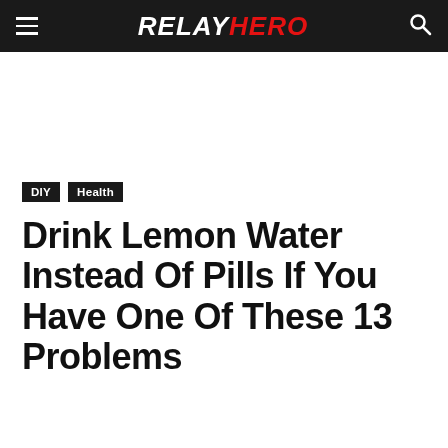RELAYHERO
DIY  Health
Drink Lemon Water Instead Of Pills If You Have One Of These 13 Problems